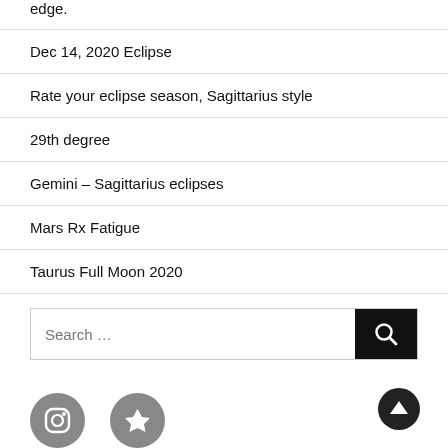edge.
Dec 14, 2020 Eclipse
Rate your eclipse season, Sagittarius style
29th degree
Gemini – Sagittarius eclipses
Mars Rx Fatigue
Taurus Full Moon 2020
[Figure (other): Search bar with search button and magnifying glass icon]
[Figure (other): Scroll to top button (circle with up arrow)]
[Figure (other): Two social media icon circles at bottom left]